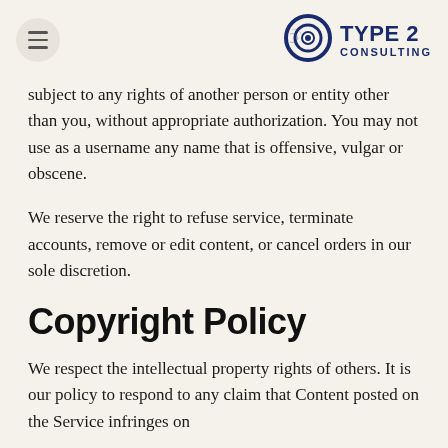TYPE 2 CONSULTING
subject to any rights of another person or entity other than you, without appropriate authorization. You may not use as a username any name that is offensive, vulgar or obscene.
We reserve the right to refuse service, terminate accounts, remove or edit content, or cancel orders in our sole discretion.
Copyright Policy
We respect the intellectual property rights of others. It is our policy to respond to any claim that Content posted on the Service infringes on